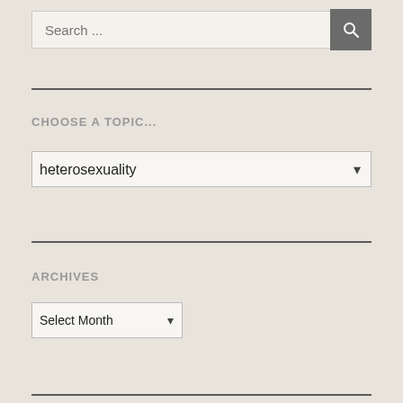[Figure (screenshot): Search input field with placeholder text 'Search ...' and a dark grey search button with magnifying glass icon]
CHOOSE A TOPIC...
[Figure (screenshot): Dropdown select box showing 'heterosexuality' as selected option]
ARCHIVES
[Figure (screenshot): Dropdown select box showing 'Select Month' as selected option]